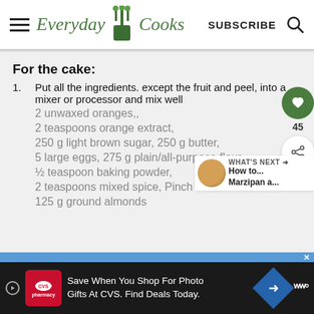[Figure (logo): Everyday Cooks logo with kitchen utensils icon, SUBSCRIBE button and search icon in header navigation bar]
For the cake:
Put all the ingredients. except the fruit and peel, into a mixer or processor and mix well
2 unwaxed oranges,,
2 teaspoons orange extract,
250 g light brown sugar, 250 g butter,
5 large eggs, 275 g plain/all-purpose flour,
½ teaspoon baking powder,
2 teaspoons mixed spice, Pinch of
125 g ground almonds
[Figure (infographic): Side UI elements: green heart/like button, count 45, share button, and What's Next panel showing How to... Marzipan a... with a thumbnail image]
[Figure (infographic): Bottom advertisement bar: CVS Pharmacy ad reading Save When You Shop For Photo Gifts At CVS. Find Deals Today.]